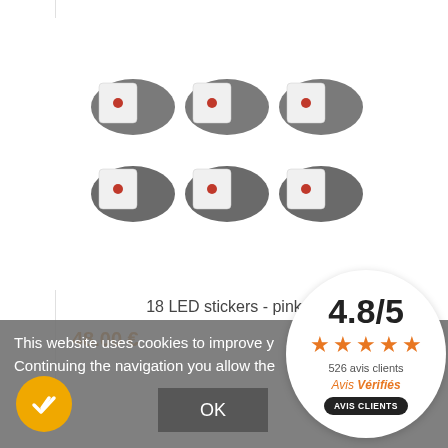[Figure (photo): Six LED sticker modules arranged in a 3x2 grid on a white background. Each module consists of a white square LED sticker placed on a grey oval pad.]
18 LED stickers - pink
48.00 €
This website uses cookies to improve y... Continuing the navigation you allow the...
OK
[Figure (infographic): Round white rating badge showing 4.8/5 score, 4.5 orange stars, 526 avis clients, Avis Vérifiés logo, and AVIS CLIENTS button]